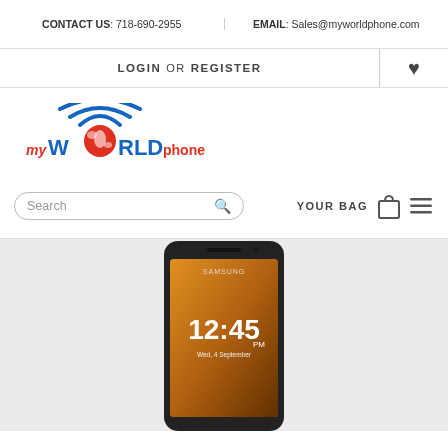CONTACT US: 718-690-2955   EMAIL: Sales@myworldphone.com
LOGIN OR REGISTER
[Figure (logo): MyWorldPhone logo with blue WiFi arcs above a red globe, text reads myWORLDPHONE in blue and red]
Search
YOUR BAG
[Figure (photo): Samsung smartphone (Galaxy Note) showing lock screen with time 12:45 on a colorful background]